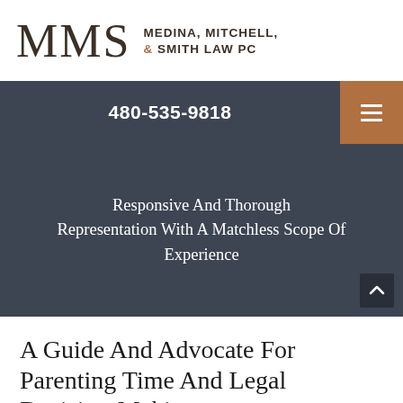MMS MEDINA, MITCHELL, & SMITH LAW PC
480-535-9818
Responsive And Thorough Representation With A Matchless Scope Of Experience
A Guide And Advocate For Parenting Time And Legal Decision-Making